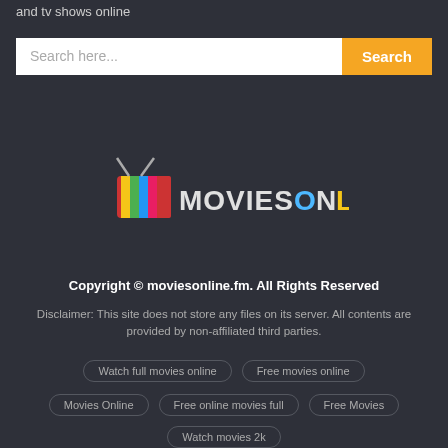and tv shows online
[Figure (screenshot): Search bar with text 'Search here...' and yellow 'Search' button]
[Figure (logo): MoviesOnline logo with colorful TV icon and text 'MOVIESONLINE']
Copyright © moviesonline.fm. All Rights Reserved
Disclaimer: This site does not store any files on its server. All contents are provided by non-affiliated third parties.
Watch full movies online
Free movies online
Movies Online
Free online movies full
Free Movies
Watch movies 2k